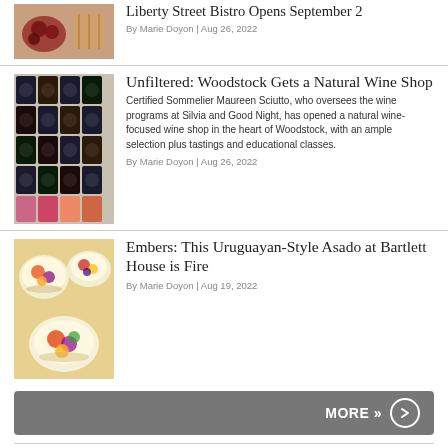[Figure (photo): Top article thumbnail showing food/grapes]
Liberty Street Bistro Opens September 2
By Marie Doyon | Aug 26, 2022
[Figure (photo): Wine bottles in a rack display]
Unfiltered: Woodstock Gets a Natural Wine Shop
Certified Sommelier Maureen Sciutto, who oversees the wine programs at Silvia and Good Night, has opened a natural wine-focused wine shop in the heart of Woodstock, with an ample selection plus tastings and educational classes.
By Marie Doyon | Aug 26, 2022
[Figure (photo): Colorful bowls of food, salads and dishes]
Embers: This Uruguayan-Style Asado at Bartlett House is Fire
By Marie Doyon | Aug 19, 2022
© 2022 Chronogram Magazine